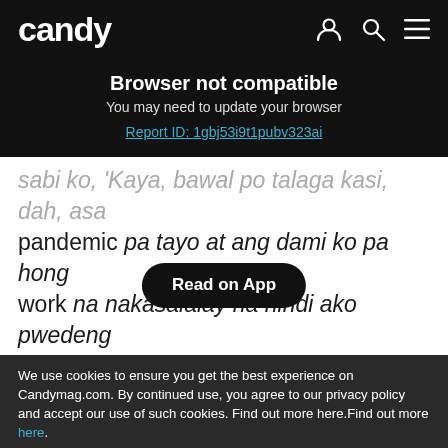candy
Browser not compatible
You may need to update your browser
Report ID: 1gbj53i9t1pubv323ai
sabi ko, 'Kaya, bawal po talaga kasi, dah, asa pandemic pa tayo at ang dami ko pa hong work na nakasalalay na hindi ako pwedeng mag-positive.'
"So, sabi ko kay K[Read on App]ya, bawal po talaga or else papasok na rin talaga ako,' since late naman na ako sa training ko eh."
We use cookies to ensure you get the best experience on Candymag.com. By continued use, you agree to our privacy policy and accept our use of such cookies. Find out more here.Find out more here.
I AGREE
I DISAGREE